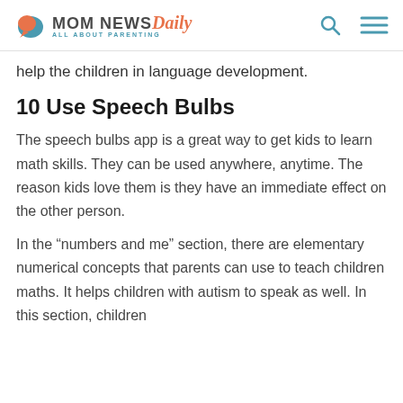MOM NEWS Daily — ALL ABOUT PARENTING
help the children in language development.
10 Use Speech Bulbs
The speech bulbs app is a great way to get kids to learn math skills. They can be used anywhere, anytime. The reason kids love them is they have an immediate effect on the other person.
In the “numbers and me” section, there are elementary numerical concepts that parents can use to teach children maths. It helps children with autism to speak as well. In this section, children